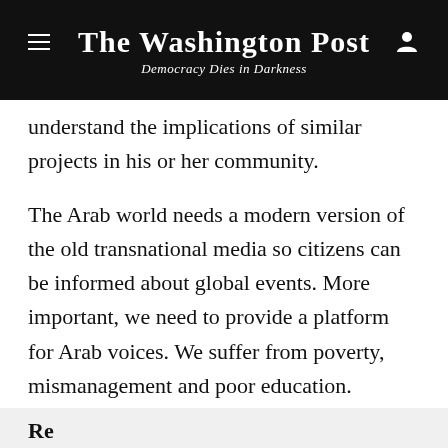The Washington Post — Democracy Dies in Darkness
understand the implications of similar projects in his or her community.
The Arab world needs a modern version of the old transnational media so citizens can be informed about global events. More important, we need to provide a platform for Arab voices. We suffer from poverty, mismanagement and poor education. Through the creation of an independent international forum, isolated from the influence of nationalist governments spreading hate through propaganda, ordinary people in the Arab world would be able to address the structural problems their societies face.
Re